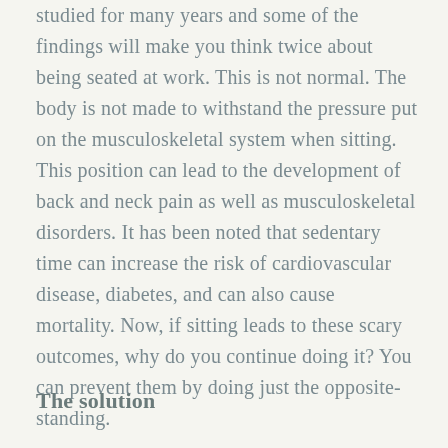studied for many years and some of the findings will make you think twice about being seated at work. This is not normal. The body is not made to withstand the pressure put on the musculoskeletal system when sitting. This position can lead to the development of back and neck pain as well as musculoskeletal disorders. It has been noted that sedentary time can increase the risk of cardiovascular disease, diabetes, and can also cause mortality. Now, if sitting leads to these scary outcomes, why do you continue doing it? You can prevent them by doing just the opposite- standing.
The solution